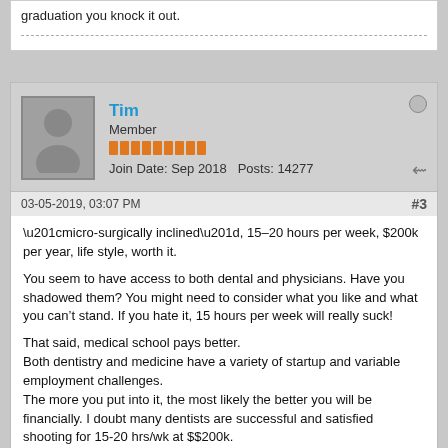graduation you knock it out.
Tim
Member
Join Date: Sep 2018  Posts: 14277
03-05-2019, 03:07 PM
#3
“micro-surgically inclined”, 15–20 hours per week, $200k per year, life style, worth it.

You seem to have access to both dental and physicians. Have you shadowed them? You might need to consider what you like and what you can't stand. If you hate it, 15 hours per week will really suck!

That said, medical school pays better.
Both dentistry and medicine have a variety of startup and variable employment challenges.
The more you put into it, the most likely the better you will be financially. I doubt many dentists are successful and satisfied shooting for 15-20 hrs/wk at $$200k.